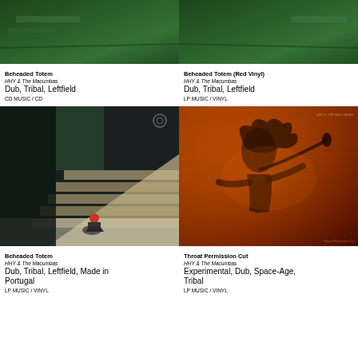[Figure (photo): Album cover top-left, cropped, showing green/teal abstract image]
Beheaded Totem
HHY & The Macumbas
Dub, Tribal, Leftfield
CD MUSIC / CD
[Figure (photo): Album cover top-right, cropped, showing green/teal abstract image]
Beheaded Totem (Red Vinyl)
HHY & The Macumbas
Dub, Tribal, Leftfield
LP MUSIC / VINYL
[Figure (photo): Album cover showing person crouching on floor near staircase in dark interior]
Beheaded Totem
HHY & The Macumbas
Dub, Tribal, Leftfield, Made in Portugal
LP MUSIC / VINYL
[Figure (photo): Album cover showing performer in orange/red tones, live performance]
Throat Permission Cut
HHY & The Macumbas
Experimental, Dub, Space-Age, Tribal
LP MUSIC / VINYL